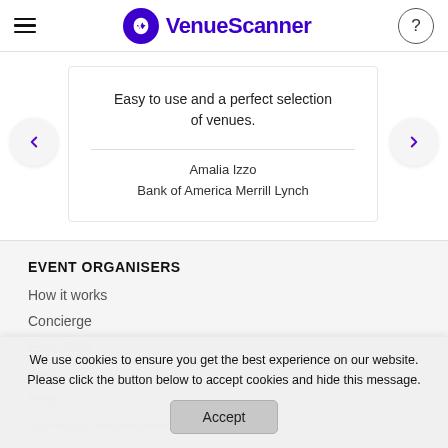VenueScanner
Easy to use and a perfect selection of venues.
Amalia Izzo
Bank of America Merrill Lynch
EVENT ORGANISERS
How it works
Concierge
Exes Club
We use cookies to ensure you get the best experience on our website. Please click the button below to accept cookies and hide this message.
Accept